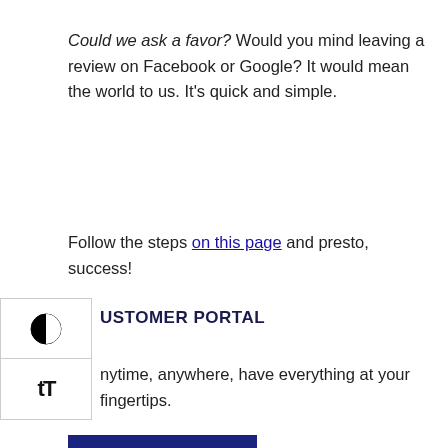Could we ask a favor? Would you mind leaving a review on Facebook or Google? It would mean the world to us. It's quick and simple.
Follow the steps on this page and presto, success!
CUSTOMER PORTAL
anytime, anywhere, have everything at your fingertips.
LET'S GO